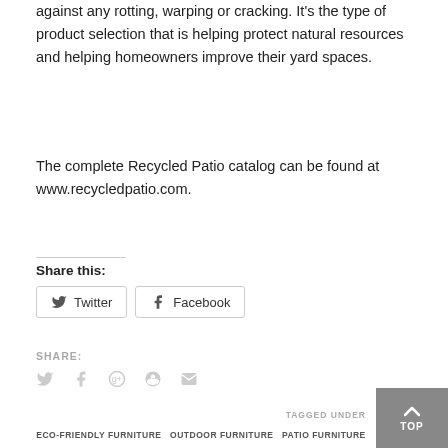against any rotting, warping or cracking. It's the type of product selection that is helping protect natural resources and helping homeowners improve their yard spaces.
The complete Recycled Patio catalog can be found at www.recycledpatio.com.
Share this:
Twitter  Facebook
SHARE:
TAGGED UNDER
ECO-FRIENDLY FURNITURE  OUTDOOR FURNITURE  PATIO FURNITURE